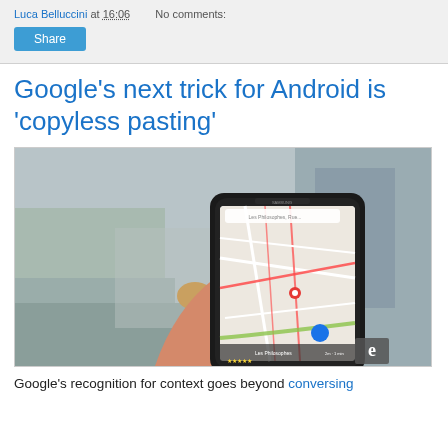Luca Belluccini at 16:06   No comments:
Share
Google's next trick for Android is 'copyless pasting'
[Figure (photo): A hand holding a Samsung smartphone displaying Google Maps showing Paris streets with a red location pin.]
Google's recognition for context goes beyond conversing